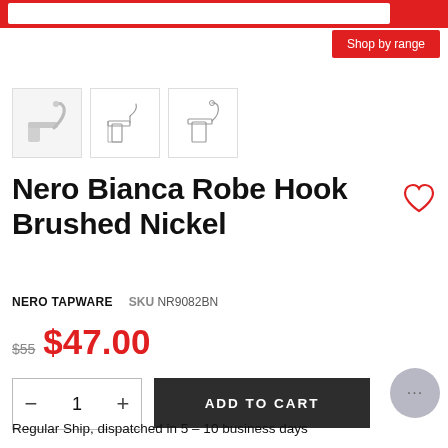Shop by range
[Figure (photo): Three thumbnail images of Nero Bianca Robe Hook Brushed Nickel product: a photo of the hook and two technical/line drawing views]
Nero Bianca Robe Hook Brushed Nickel
NERO TAPWARE   SKU NR9082BN
$55  $47.00
ADD TO CART
Regular Ship, dispatched in 5 – 10 business days